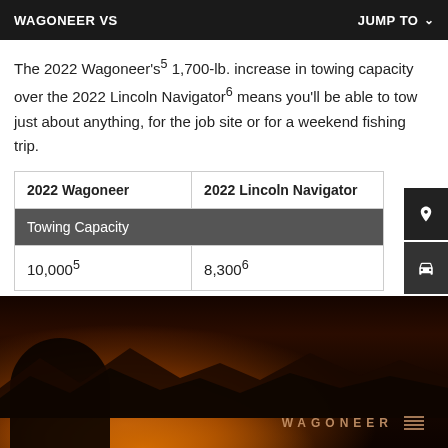WAGONEER VS    JUMP TO
The 2022 Wagoneer's⁵ 1,700-lb. increase in towing capacity over the 2022 Lincoln Navigator⁶ means you'll be able to tow just about anything, for the job site or for a weekend fishing trip.
| 2022 Wagoneer | 2022 Lincoln Navigator |
| --- | --- |
| Towing Capacity |  |
| 10,000⁵ | 8,300⁶ |
[Figure (photo): Photo of a dark red/maroon Wagoneer vehicle at sunset with silhouetted mountains in background, showing wheel arch and WAGONEER badge text]